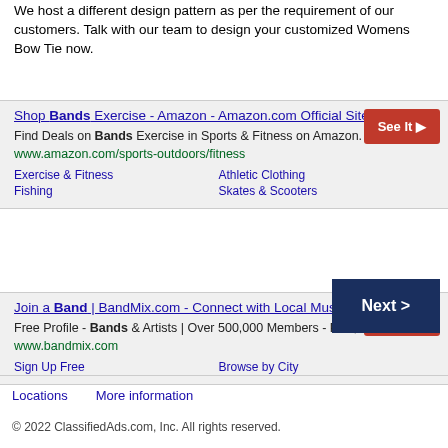We host a different design pattern as per the requirement of our customers. Talk with our team to design your customized Womens Bow Tie now.
Ads
Shop Bands Exercise - Amazon - Amazon.com Official Site
Find Deals on Bands Exercise in Sports & Fitness on Amazon. www.amazon.com/sports-outdoors/fitness
Exercise & Fitness   Athletic Clothing
Fishing   Skates & Scooters
Join a Band | BandMix.com - Connect with Local Musicians.
Free Profile - Bands & Artists | Over 500,000 Members - Pics, Mp3 www.bandmix.com
Sign Up Free   Browse by City
Next >
Locations
More information
© 2022 ClassifiedAds.com, Inc. All rights reserved.